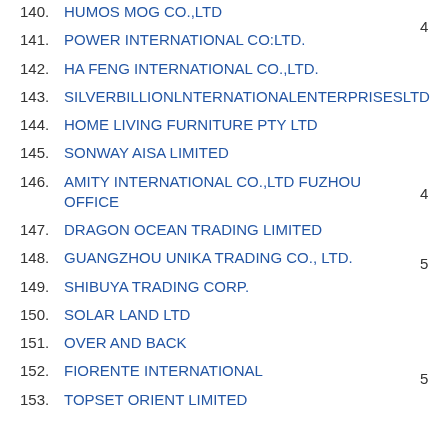140. HUMOS MOG CO.,LTD
141. POWER INTERNATIONAL CO:LTD.
142. HA FENG INTERNATIONAL CO.,LTD.
143. SILVERBILLIONLNTERNATIONALENTERPRISESLTD
144. HOME LIVING FURNITURE PTY LTD
145. SONWAY AISA LIMITED
146. AMITY INTERNATIONAL CO.,LTD FUZHOU OFFICE
147. DRAGON OCEAN TRADING LIMITED
148. GUANGZHOU UNIKA TRADING CO., LTD.
149. SHIBUYA TRADING CORP.
150. SOLAR LAND LTD
151. OVER AND BACK
152. FIORENTE INTERNATIONAL
153. TOPSET ORIENT LIMITED